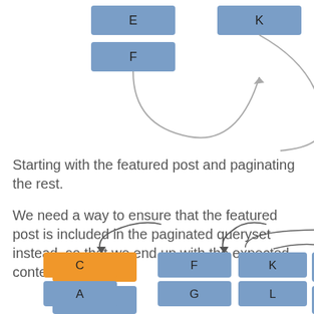[Figure (flowchart): Top diagram showing boxes labeled E, F (left column) and K (right column) with curved arrows indicating pagination flow.]
Starting with the featured post and paginating the rest.
We need a way to ensure that the featured post is included in the paginated queryset instead, so that we end up with the expected content river.
[Figure (flowchart): Bottom diagram showing three columns: first with orange box C and blue boxes A, B; second with blue boxes F, G, H and a curved arrow pointing down to F; third with blue boxes K, L, M and a curved arrow pointing down to K.]